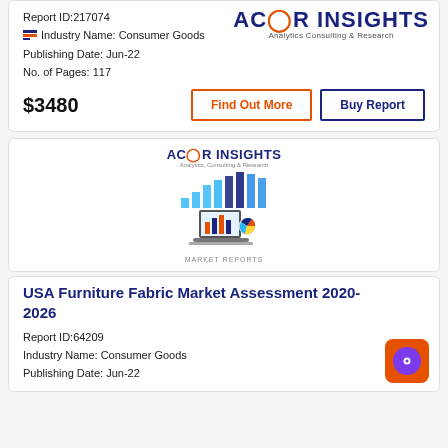Report ID:217074  |  Industry Name: Consumer Goods  |  Publishing Date: Jun-22  |  No. of Pages: 117
$3480
Find Out More | Buy Report
[Figure (logo): ACR Insights logo with bar chart graphic and laptop illustration. Text reads: ACR INSIGHTS, Analytics Consulting & Research, MARKET REPORTS]
USA Furniture Fabric Market Assessment 2020-2026
Report ID:64209
Industry Name: Consumer Goods
Publishing Date: Jun-22